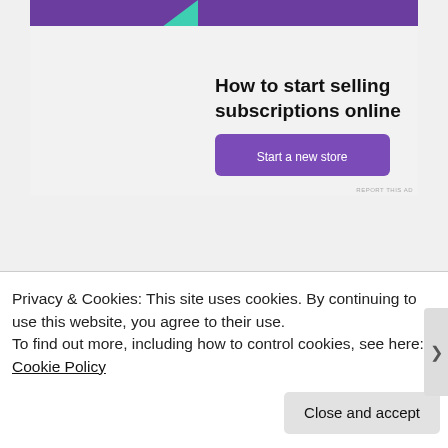[Figure (illustration): Advertisement banner: 'How to start selling subscriptions online' with a purple header bar, green triangle, blue arc shape, and a purple 'Start a new store' button on a light grey background.]
REPORT THIS AD
THE POPE AT WAR: THE
Privacy & Cookies: This site uses cookies. By continuing to use this website, you agree to their use.
To find out more, including how to control cookies, see here: Cookie Policy
Close and accept